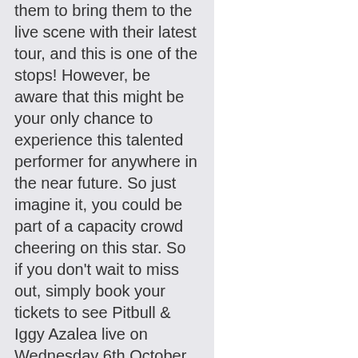them to bring them to the live scene with their latest tour, and this is one of the stops! However, be aware that this might be your only chance to experience this talented performer for anywhere in the near future. So just imagine it, you could be part of a capacity crowd cheering on this star. So if you don't wait to miss out, simply book your tickets to see Pitbull & Iggy Azalea live on Wednesday 6th October 2021 at the Starlight Theatre